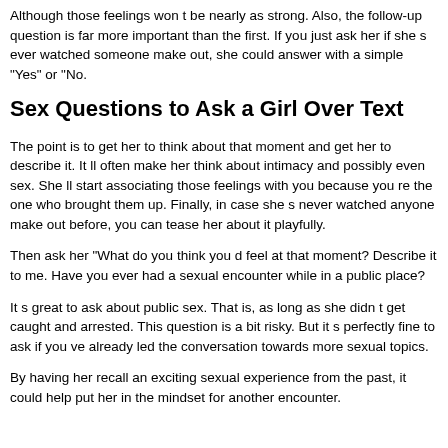Although those feelings won t be nearly as strong. Also, the follow-up question is far more important than the first. If you just ask her if she s ever watched someone make out, she could answer with a simple "Yes" or "No.
Sex Questions to Ask a Girl Over Text
The point is to get her to think about that moment and get her to describe it. It ll often make her think about intimacy and possibly even sex. She ll start associating those feelings with you because you re the one who brought them up. Finally, in case she s never watched anyone make out before, you can tease her about it playfully.
Then ask her "What do you think you d feel at that moment? Describe it to me. Have you ever had a sexual encounter while in a public place?
It s great to ask about public sex. That is, as long as she didn t get caught and arrested. This question is a bit risky. But it s perfectly fine to ask if you ve already led the conversation towards more sexual topics.
By having her recall an exciting sexual experience from the past, it could help put her in the mindset for another encounter.